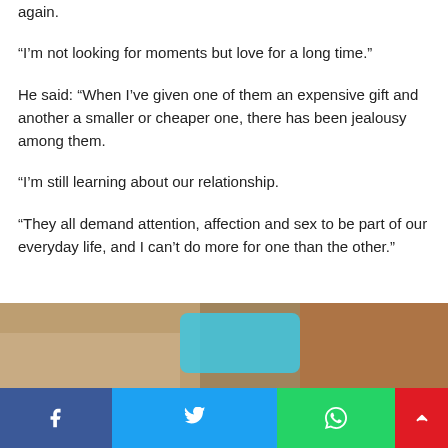again.
“I’m not looking for moments but love for a long time.”
He said: “When I’ve given one of them an expensive gift and another a smaller or cheaper one, there has been jealousy among them.
“I’m still learning about our relationship.
“They all demand attention, affection and sex to be part of our everyday life, and I can’t do more for one than the other.”
[Figure (photo): Partial view of a photo showing blurred objects with blue and brown tones]
Facebook | Twitter | WhatsApp | Scroll up